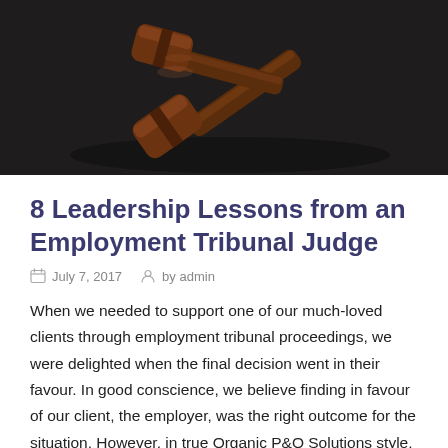[Figure (photo): A wooden judge's gavel resting on a dark surface, photographed from above at an angle.]
8 Leadership Lessons from an Employment Tribunal Judge
July 7, 2017   by admin
When we needed to support one of our much-loved clients through employment tribunal proceedings, we were delighted when the final decision went in their favour. In good conscience, we believe finding in favour of our client, the employer, was the right outcome for the situation. However, in true Organic P&O Solutions style, we also took the opportunity to identify some learning from the process. After all, we don't plan to be there again